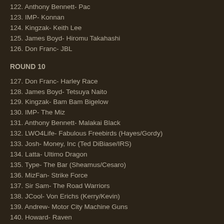122. Anthony Bennett- Pac
123. IMP- Konnan
124. Kingzak- Keith Lee
125. James Boyd- Hiromu Takahashi
126. Don Franc- JBL
ROUND 10
127. Don Franc- Harley Race
128. James Boyd- Tetsuya Naito
129. Kingzak- Bam Bam Bigelow
130. IMP- The Miz
131. Anthony Bennett- Malakai Black
132. LWO4Life- Fabulous Freebirds (Hayes/Gordy)
133. Josh- Money, Inc (Ted DiBiase/IRS)
134. Latta- Ultimo Dragon
135. Type- The Bar (Sheamus/Cesaro)
136. MizFan- Strike Force
137. Sir Sam- The Road Warriors
138. JCool- Von Erichs (Kerry/Kevin)
139. Andrew- Motor City Machine Guns
140. Howard- Raven
ROUND 11
141. Howard- World's Greatest Tag Team (Benjmain/Haas)
142. Andrew- The Great Sasake
143. JCool- Gail Kim
144. Sam- Jumbo Tsruta
145- Mizfan- Bull Nakano